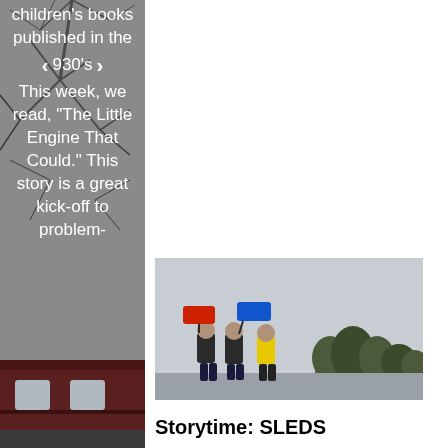children's books published in the 930's This week, we read, "The Little Engine That Could." This story is a great kick-off to problem-
[Figure (photo): Three people outdoors holding colorful sleds (red and blue) above their heads against an overcast sky with trees in the background]
Storytime: SLEDS
by Amy Westmoreland